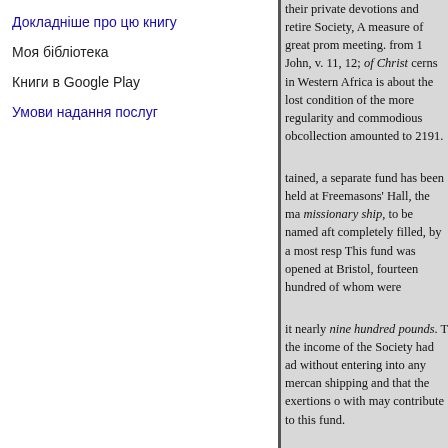Докладніше про цю книгу
Моя бібліотека
Книги в Google Play
Умови надання послуг
their private devotions and retire Society, A measure of great prom meeting. from 1 John, v. 11, 12; of Christ cerns in Western Africa is about the lost condition of the more regularity and commodious obcollection amounted to 2191.
tained, a separate fund has been held at Freemasons' Hall, the ma missionary ship, to be named aft completely filled, by a most resp This fund was opened at Bristol, fourteen hundred of whom were
it nearly nine hundred pounds. T the income of the Society had ad without entering into any mercan shipping and that the exertions o with may contribute to this fund.
The Dean of Wells, Mr. Wilber- important missionary purThorpe pose. Simpson and Cowan, of Bi from the general funds of the So